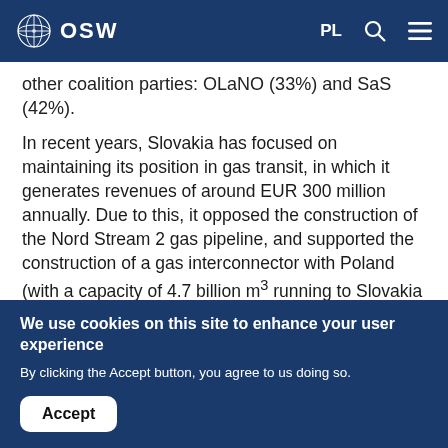OSW | PL
other coalition parties: OLaNO (33%) and SaS (42%).
In recent years, Slovakia has focused on maintaining its position in gas transit, in which it generates revenues of around EUR 300 million annually. Due to this, it opposed the construction of the Nord Stream 2 gas pipeline, and supported the construction of a gas interconnector with Poland (with a capacity of 4.7 billion m³ running to Slovakia and 5.7 billion m³ running to Poland), which has been under construction since 2018. The interconnector will enable gas transit from the LNG
We use cookies on this site to enhance your user experience
By clicking the Accept button, you agree to us doing so.
Accept